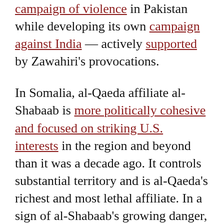campaign of violence in Pakistan while developing its own campaign against India — actively supported by Zawahiri's provocations.
In Somalia, al-Qaeda affiliate al-Shabaab is more politically cohesive and focused on striking U.S. interests in the region and beyond than it was a decade ago. It controls substantial territory and is al-Qaeda's richest and most lethal affiliate. In a sign of al-Shabaab's growing danger, the Biden administration is redeploying troops to fight it. In the Sahel, Jama'at Nusrat al-Islam wal-Muslimin has embedded itself in local